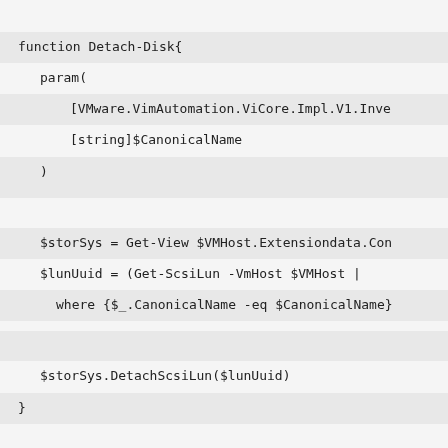function Detach-Disk{
param(
[VMware.VimAutomation.ViCore.Impl.V1.Inve
[string]$CanonicalName
)
$storSys = Get-View $VMHost.Extensiondata.Con
$lunUuid = (Get-ScsiLun -VmHost $VMHost |
where {$_.CanonicalName -eq $CanonicalName}
$storSys.DetachScsiLun($lunUuid)
}
Function Detach-RDMs ($naa){
Foreach ($vmhost in $vmhosts){
Write-Host "Starting with"$vmhost.Name
"$(Givemetime)" + "Starting with " +$vmhost.Name